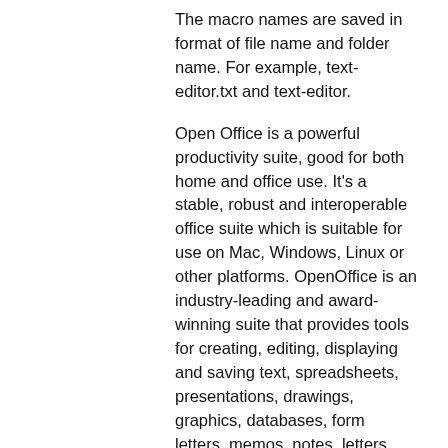The macro names are saved in format of file name and folder name. For example, text-editor.txt and text-editor.
Open Office is a powerful productivity suite, good for both home and office use. It's a stable, robust and interoperable office suite which is suitable for use on Mac, Windows, Linux or other platforms. OpenOffice is an industry-leading and award-winning suite that provides tools for creating, editing, displaying and saving text, spreadsheets, presentations, drawings, graphics, databases, form letters, memos, notes, letters, calendars and much more.
OpenOffice is free and open source, under the LGPL.
Mutt is a lightweight text-based email client. Features include threading, default addressbook, searching, multiple accounts and lots of customizability. It also includes tools for text formatting, such as bold, italic, superscript and subscript.
Fcitx is an open source front-end library for the FreeS/WAN Simple IME (now called Fcitx)